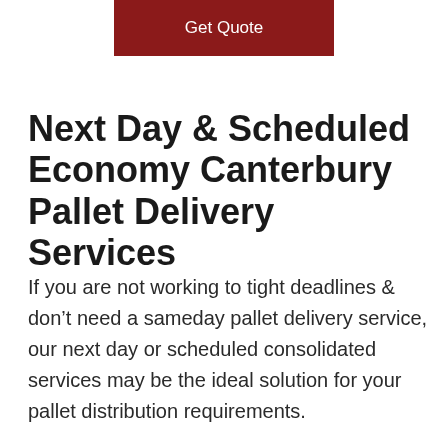Get Quote
Next Day & Scheduled Economy Canterbury Pallet Delivery Services
If you are not working to tight deadlines & don’t need a sameday pallet delivery service, our next day or scheduled consolidated services may be the ideal solution for your pallet distribution requirements.